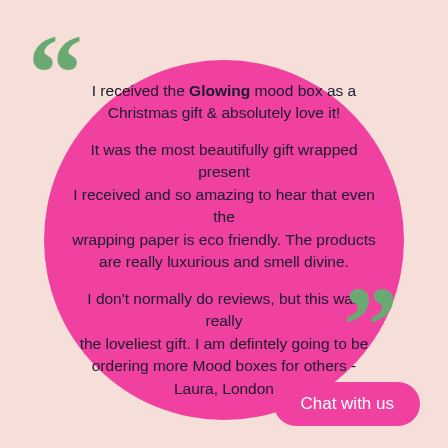[Figure (illustration): Decorative opening quotation marks in green, large pink circle in center containing review text, closing quotation marks in green at bottom right, pink 'Chat with us' button at bottom right]
I received the Glowing mood box as a Christmas gift & absolutely love it!

It was the most beautifully gift wrapped present I received and so amazing to hear that even the wrapping paper is eco friendly. The products are really luxurious and smell divine.

I don't normally do reviews, but this was really the loveliest gift. I am defintely going to be ordering more Mood boxes for others - Laura, London
Chat with us